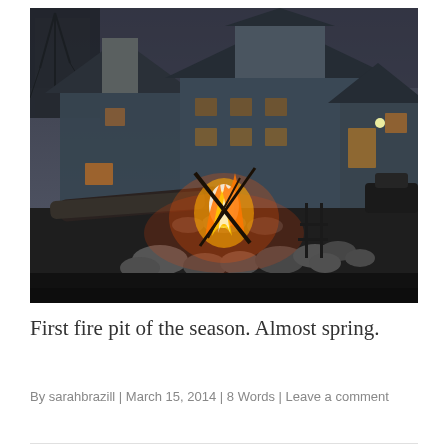[Figure (photo): Outdoor twilight photo showing a fire pit with burning flames and surrounding rocks in the foreground, with a large dark blue-grey house with white trim windows visible in the background, bare winter trees to the left, and a parked car on the right.]
First fire pit of the season. Almost spring.
By sarahbrazill | March 15, 2014 | 8 Words | Leave a comment